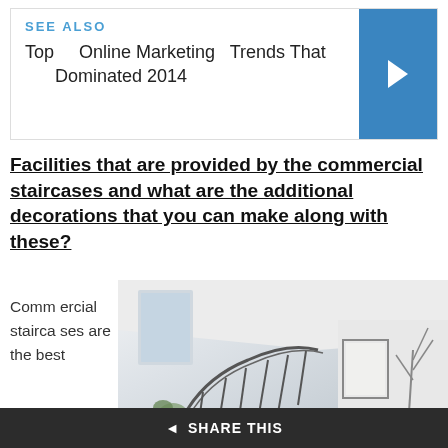[Figure (other): See Also box with blue arrow button linking to 'Top Online Marketing Trends That Dominated 2014']
Facilities that are provided by the commercial staircases and what are the additional decorations that you can make along with these?
Commercial staircases are the best
[Figure (photo): Interior photo of a modern staircase with railings in a bright white space with plants]
SHARE THIS